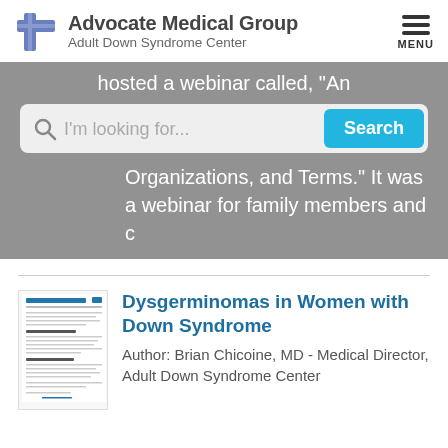[Figure (logo): Advocate Medical Group logo with blue cross icon and text 'Advocate Medical Group / Adult Down Syndrome Center', plus hamburger menu button labeled MENU]
hosted a webinar called, "An
I'm looking for...
Search
Organizations, and Terms." It was a webinar for family members and c
[Figure (screenshot): Thumbnail image of a document page titled 'Dysgerminomas in Women with Down Syndrome']
Dysgerminomas in Women with Down Syndrome
Author: Brian Chicoine, MD - Medical Director, Adult Down Syndrome Center